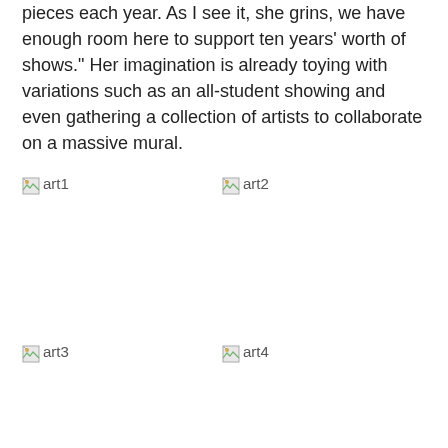pieces each year. As I see it, she grins, we have enough room here to support ten years' worth of shows. Her imagination is already toying with variations such as an all-student showing and even gathering a collection of artists to collaborate on a massive mural.
[Figure (photo): Broken image placeholder labeled art1]
[Figure (photo): Broken image placeholder labeled art2]
[Figure (photo): Broken image placeholder labeled art3]
[Figure (photo): Broken image placeholder labeled art4]